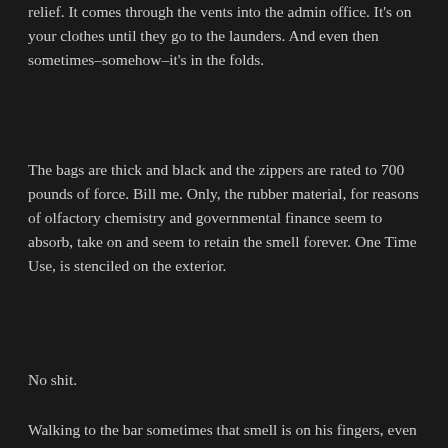relief. It comes through the vents into the admin office. It's on your clothes until they go to the launders. And even then sometimes–somehow–it's in the folds.
The bags are thick and black and the zippers are rated to 700 pounds of force. Bill me. Only, the rubber material, for reasons of olfactory chemistry and governmental finance seem to absorb, take on and seem to retain the smell forever. One Time Use, is stenciled on the exterior.
No shit.
Walking to the bar sometimes that smell is on his fingers, even though he just showered and changed into clothing befitting a well-employed young, urban man with acceptable tastes in propaganda and inebriants. It's there and then it's gone.
He thinks maybe it's the sewer, but Portland sewers are deeply contained and serviced at regular intervals exceeding industry standards. It's a good city. Even in